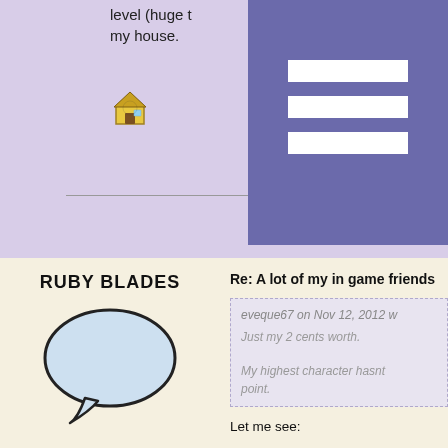[Figure (screenshot): Top portion of a forum page showing a purple/lavender background with partial text about level and house, a house emoji icon, a dark purple box with three white horizontal bars (hamburger menu), and a horizontal line.]
RUBY BLADES
[Figure (illustration): A light blue speech bubble avatar icon with black outline]
Rank: Lieutenant
Joined: Jan 29, 2010
Posts: 161
Re: A lot of my in game friends
eveque67 on Nov 12, 2012 w
Just my 2 cents worth.
My highest character hasnt point.
Let me see:
1) Ships -- continually need increasing with each neede
2) Ship equipment -- must m
3) Gear-- not every person someone else may not get